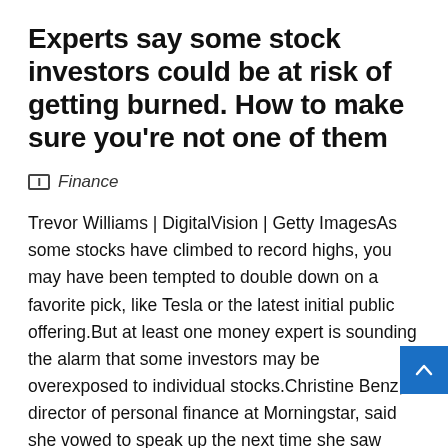Experts say some stock investors could be at risk of getting burned. How to make sure you're not one of them
Finance
Trevor Williams | DigitalVision | Getty ImagesAs some stocks have climbed to record highs, you may have been tempted to double down on a favorite pick, like Tesla or the latest initial public offering.But at least one money expert is sounding the alarm that some investors may be overexposed to individual stocks.Christine Benz, director of personal finance at Morningstar, said she vowed to speak up the next time she saw potentially dangerous market conditions crop up, after the dot-com bust of the late 9... feels like that time is here," she tweeted last week.More from Personal Finance:Here's a decade by decade...